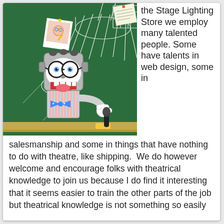[Figure (illustration): Cartoon robot character with big glasses, bow tie, and white gloves holding a microphone, standing in front of a chalkboard with a technical diagram of a stage spotlight drawn in white lines on green background.]
the Stage Lighting Store we employ many talented people. Some have talents in web design, some in salesmanship and some in things that have nothing to do with theatre, like shipping.  We do however welcome and encourage folks with theatrical knowledge to join us because I do find it interesting that it seems easier to train the other parts of the job but theatrical knowledge is not something so easily